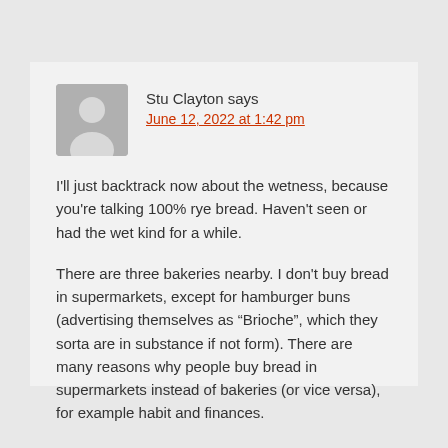Stu Clayton says
June 12, 2022 at 1:42 pm
I'll just backtrack now about the wetness, because you're talking 100% rye bread. Haven't seen or had the wet kind for a while.
There are three bakeries nearby. I don't buy bread in supermarkets, except for hamburger buns (advertising themselves as “Brioche”, which they sorta are in substance if not form). There are many reasons why people buy bread in supermarkets instead of bakeries (or vice versa), for example habit and finances.